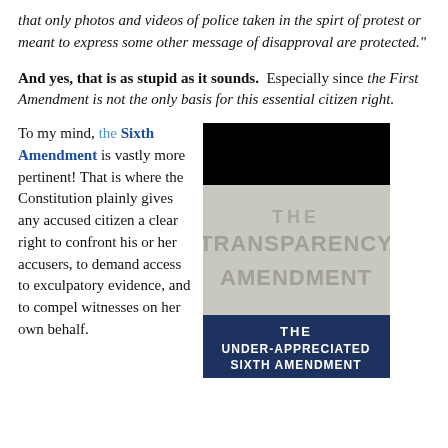that only photos and videos of police taken in the spirt of protest or meant to express some other message of disapproval are protected."
And yes, that is as stupid as it sounds. Especially since the First Amendment is not the only basis for this essential citizen right.
To my mind, the Sixth Amendment is vastly more pertinent! That is where the Constitution plainly gives any accused citizen a clear right to confront his or her accusers, to demand access to exculpatory evidence, and to compel witnesses on her own behalf.
[Figure (illustration): Book cover for 'The Transparency Amendment: The Under-Appreciated Sixth Amendment' with dark gray/silver text on light gray background and dark navy blue banner at bottom]